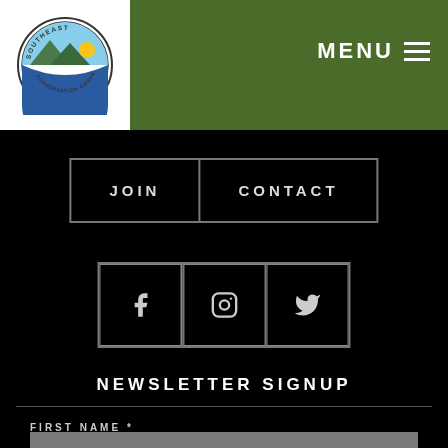Southeast Conservation Corps - MENU
[Figure (logo): Southeast Conservation Corps circular logo with landscape scene]
JOIN
CONTACT
[Figure (other): Social media icons row: Facebook, Instagram, Twitter]
NEWSLETTER SIGNUP
FIRST NAME *
LAST NAME *